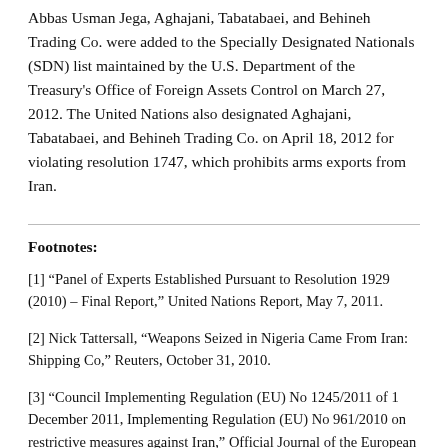Abbas Usman Jega, Aghajani, Tabatabaei, and Behineh Trading Co. were added to the Specially Designated Nationals (SDN) list maintained by the U.S. Department of the Treasury's Office of Foreign Assets Control on March 27, 2012. The United Nations also designated Aghajani, Tabatabaei, and Behineh Trading Co. on April 18, 2012 for violating resolution 1747, which prohibits arms exports from Iran.
Footnotes:
[1] “Panel of Experts Established Pursuant to Resolution 1929 (2010) – Final Report,” United Nations Report, May 7, 2011.
[2] Nick Tattersall, “Weapons Seized in Nigeria Came From Iran: Shipping Co,” Reuters, October 31, 2010.
[3] “Council Implementing Regulation (EU) No 1245/2011 of 1 December 2011, Implementing Regulation (EU) No 961/2010 on restrictive measures against Iran,” Official Journal of the European Union, L319/13, December 2, 2011.
[4] “Treasury Targets Iranian Arms Shipments,” Press Release,